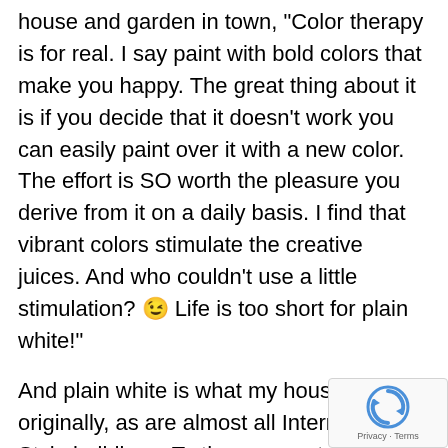house and garden in town, "Color therapy is for real. I say paint with bold colors that make you happy. The great thing about it is if you decide that it doesn't work you can easily paint over it with a new color. The effort is SO worth the pleasure you derive from it on a daily basis. I find that vibrant colors stimulate the creative juices. And who couldn't use a little stimulation? 😉 Life is too short for plain white!"
And plain white is what my house was originally, as are almost all International Style buildings. To the more extreme architectural purists I just repeat my friend's sentiments – Life is too short!
[Figure (other): reCAPTCHA widget with rotating arrows icon and Privacy/Terms links]